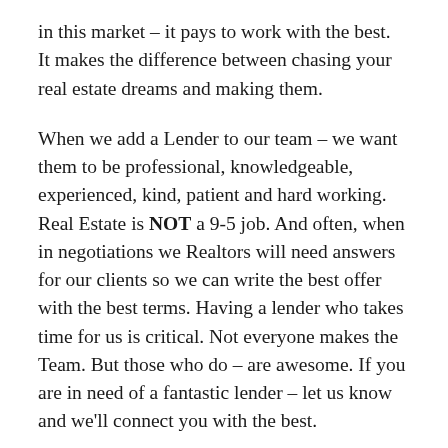in this market – it pays to work with the best.  It makes the difference between chasing your real estate dreams and making them.
When we add a Lender to our team – we want them to be professional, knowledgeable, experienced, kind, patient and hard working. Real Estate is NOT a 9-5 job. And often, when in negotiations we Realtors will need answers for our clients so we can write the best offer with the best terms. Having a lender who takes time for us is critical. Not everyone makes the Team. But those who do – are awesome. If you are in need of a fantastic lender – let us know and we'll connect you with the best.
Looking for a Realtor – we'd love to interview for the job! Please do not hesitate to call or email us your Real Estate questions, concerns and opinions.